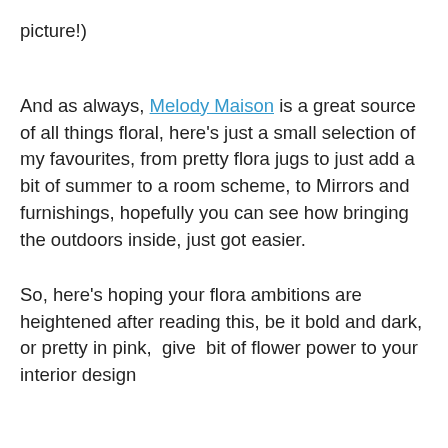picture!)
And as always, Melody Maison is a great source of all things floral, here’s just a small selection of my favourites, from pretty flora jugs to just add a bit of summer to a room scheme, to Mirrors and furnishings, hopefully you can see how bringing the outdoors inside, just got easier.
So, here’s hoping your flora ambitions are heightened after reading this, be it bold and dark, or pretty in pink,  give  bit of flower power to your interior design